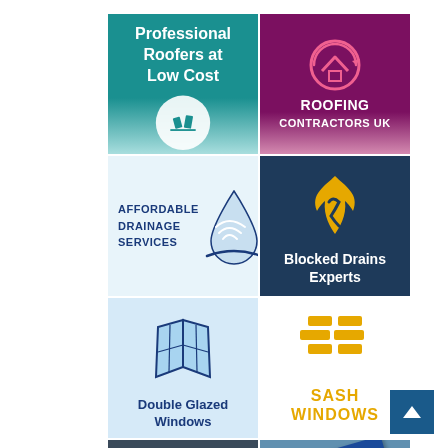[Figure (logo): Professional Roofers at Low Cost - teal/cyan gradient banner with white text and roof icon]
[Figure (logo): Roofing Contractors UK - dark magenta banner with pink house roof logo]
[Figure (logo): Affordable Drainage Services - light blue banner with water drop icon and dark blue text]
[Figure (logo): Blocked Drains Experts - dark navy banner with yellow wrench/flame icon and white text]
[Figure (logo): Double Glazed Windows - light blue banner with double window icon and dark blue text]
[Figure (logo): Sash Windows - white banner with yellow/gold sash window icon and gold text]
[Figure (logo): Best Value Skip Bin Hire - dark grey banner with yellow skip bin image]
[Figure (logo): Professional Skip Hire UK - blue diagonal banner over photo of colourful skip bins]